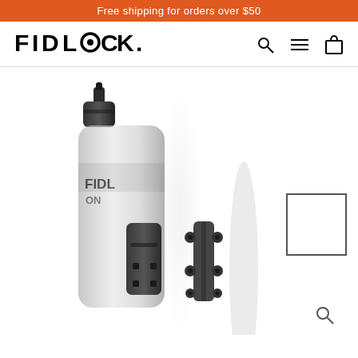Free shipping for orders over $50
[Figure (logo): FIDLOCK logo with stylized O as a ring/lock symbol]
[Figure (photo): FIDLOCK water bottle with magnetic bike mount connector system; bottle is translucent grey with FIDLOCK branding; separated mount hardware shown to the right; thumbnail image square top right; zoom magnifier icon bottom right]